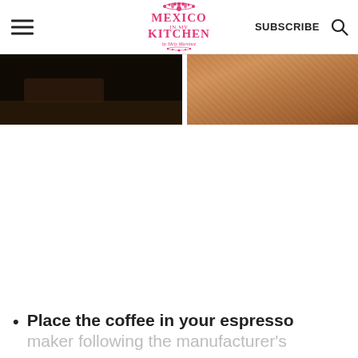Mexico in my Kitchen — SUBSCRIBE
[Figure (photo): Two side-by-side food/drink photos: left is dark background with coffee item, right is a tan/brown textured surface]
Place the coffee in your espresso maker following the manufacturer's